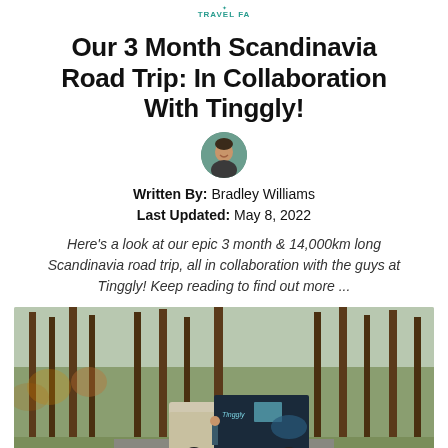Our 3 Month Scandinavia Road Trip: In Collaboration With Tinggly!
[Figure (photo): Circular author avatar photo of Bradley Williams, a man smiling outdoors]
Written By: Bradley Williams
Last Updated: May 8, 2022
Here's a look at our epic 3 month & 14,000km long Scandinavia road trip, all in collaboration with the guys at Tinggly! Keep reading to find out more ...
[Figure (photo): A customized expedition truck/camper van parked in a Scandinavian forest with tall pine trees and autumn foliage in the background]